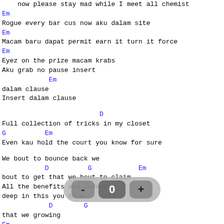now please stay mad while I meet all chemist
Em
Rogue every bar cus now aku dalam site
Em
Macam baru dapat permit earn it turn it force
Em
Eyez on the prize macam krabs
Aku grab no pause insert
Em
dalam clause
Insert dalam clause
D
Full collection of tricks in my closet
G          Em
Even kau hold the court you know for sure
We bout to bounce back we
D          G            Em
bout to get that we bout to claim
All the benefits and indeed
deep in this you know
D        G
that we growing
Em
    Takyah peep pun tau when the force bring the groove